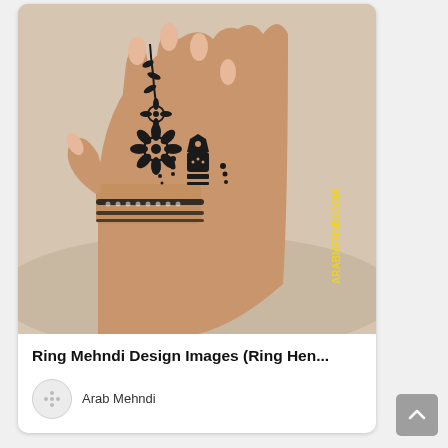[Figure (photo): A hand with intricate henna/mehndi design featuring floral patterns on the back of the hand, wrist bands, and ring finger decoration with dots and geometric motifs. Long nude nails. Watermark reads ARABMEHNDI.COM in yellow text on the right side.]
Ring Mehndi Design Images (Ring Hen...
Arab Mehndi